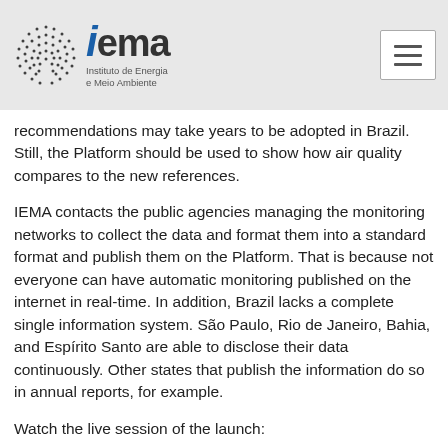iema — Instituto de Energia e Meio Ambiente
recommendations may take years to be adopted in Brazil. Still, the Platform should be used to show how air quality compares to the new references.
IEMA contacts the public agencies managing the monitoring networks to collect the data and format them into a standard format and publish them on the Platform. That is because not everyone can have automatic monitoring published on the internet in real-time. In addition, Brazil lacks a complete single information system. São Paulo, Rio de Janeiro, Bahia, and Espírito Santo are able to disclose their data continuously. Other states that publish the information do so in annual reports, for example.
Watch the live session of the launch: